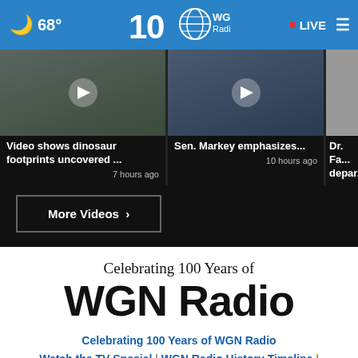🌙 68° — WGN Radio 100 — LIVE
[Figure (screenshot): Video thumbnails strip: 'Video shows dinosaur footprints uncovered ...' (7 hours ago), 'Sen. Markey emphasizes...' (10 hours ago), 'Dr. Fa... depar...' partially visible. Black background with play buttons.]
More Videos ›
Celebrating 100 Years of WGN Radio
Celebrating 100 Years of WGN Radio | Watch the TV Special | WGN Radio History Timeline | Archives | "Chicago's Very Own" Golden Lager | WGN Radio's 100th Anniversary Celebration Voicemail